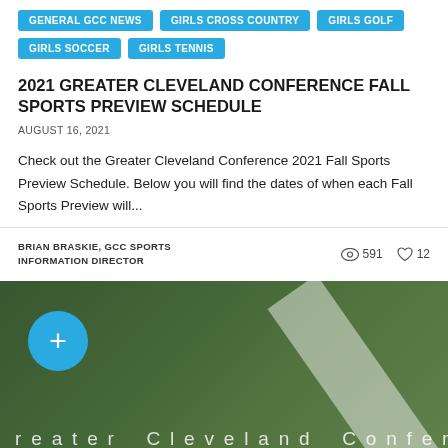GENERAL GCC NEWS
GIRLS CROSS COUNTRY
GIRLS GOLF
GIRLS SOCCER
GIRLS TENNIS
2021 GREATER CLEVELAND CONFERENCE FALL SPORTS PREVIEW SCHEDULE
AUGUST 16, 2021
Check out the Greater Cleveland Conference 2021 Fall Sports Preview Schedule. Below you will find the dates of when each Fall Sports Preview will...
BRIAN BRASKIE, GCC SPORTS INFORMATION DIRECTOR
591
12
[Figure (photo): Sports field with white line marking and 'Greater Cleveland Conference' text overlay, blue plus button in upper left]